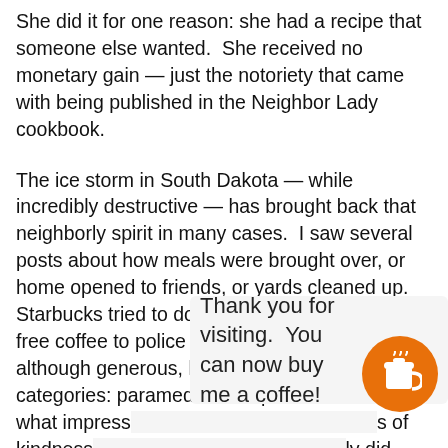She did it for one reason: she had a recipe that someone else wanted.  She received no monetary gain — just the notoriety that came with being published in the Neighbor Lady cookbook.
The ice storm in South Dakota — while incredibly destructive — has brought back that neighborly spirit in many cases.  I saw several posts about how meals were brought over, or home opened to friends, or yards cleaned up.  Starbucks tried to do their part by handing out free coffee to police and firefighters — which, although generous, left out two other obvious categories: paramedics and power linemen.  But what impress                                                    s of kindness                                                   ply did them be                                                   n th same bo                                                   :kat. rink!).
Thank you for visiting. You can now buy me a coffee!